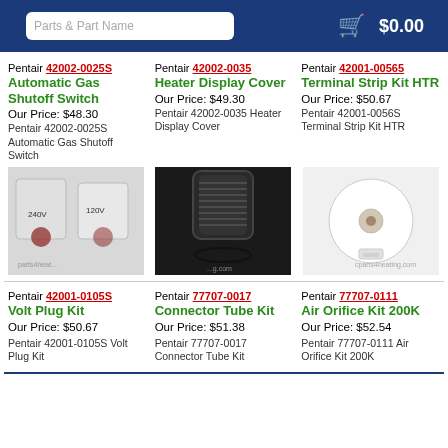$0.00
Pentair 42002-0025S Automatic Gas Shutoff Switch
Our Price: $48.30
Pentair 42002-0025S Automatic Gas Shutoff Switch
Pentair 42002-0035 Heater Display Cover
Our Price: $49.30
Pentair 42002-0035 Heater Display Cover
Pentair 42001-0056S Terminal Strip Kit HTR
Our Price: $50.67
Pentair 42001-0056S Terminal Strip Kit HTR
[Figure (photo): Automatic Gas Shutoff Switch components showing 240V and 120V wired switches]
[Figure (photo): Black threaded connector tube with O-ring below it]
[Figure (photo): White round terminal strip kit HTR component on white background]
Pentair 42001-0105S Volt Plug Kit
Our Price: $50.67
Pentair 42001-0105S Volt Plug Kit
Pentair 77707-0017 Connector Tube Kit
Our Price: $51.38
Pentair 77707-0017 Connector Tube Kit
Pentair 77707-0111 Air Orifice Kit 200K
Our Price: $52.54
Pentair 77707-0111 Air Orifice Kit 200K